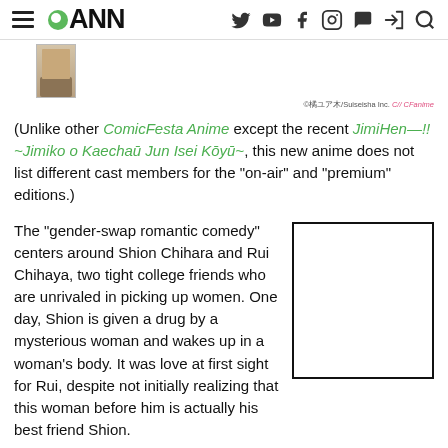ANN (Anime News Network) site header with navigation icons
[Figure (illustration): Small thumbnail image of an anime character's lower body/feet]
©橘ユア木/Suiseisha Inc. CF CFanime
(Unlike other ComicFesta Anime except the recent JimiHen—!! ~Jimiko o Kaechaū Jun Isei Kōyū~, this new anime does not list different cast members for the "on-air" and "premium" editions.)
The "gender-swap romantic comedy" centers around Shion Chihara and Rui Chihaya, two tight college friends who are unrivaled in picking up women. One day, Shion is given a drug by a mysterious woman and wakes up in a woman's body. It was love at first sight for Rui, despite not initially realizing that this woman before him is actually his best friend Shion.
[Figure (illustration): Blank/white image placeholder box with black border]